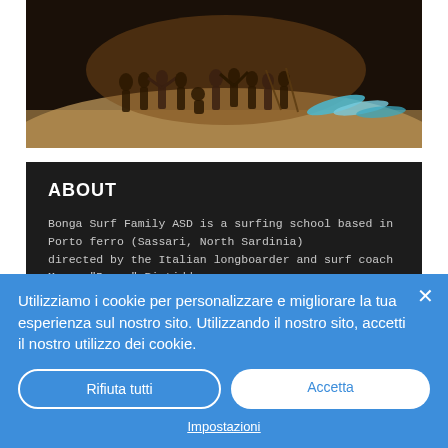[Figure (photo): Group photo of people on a beach at night, with surfboards visible on the right side. People are standing and posing together.]
ABOUT
Bonga Surf Family ASD is a surfing school based in Porto ferro (Sassari, North Sardinia) directed by the Italian longboarder and surf coach Marco "Bonga" Pistidda.
BONGA SURF FAMILY ASD
CF. 90139580903
Utilizziamo i cookie per personalizzare e migliorare la tua esperienza sul nostro sito. Utilizzando il nostro sito, accetti il nostro utilizzo dei cookie.
Rifiuta tutti
Accetta
Impostazioni